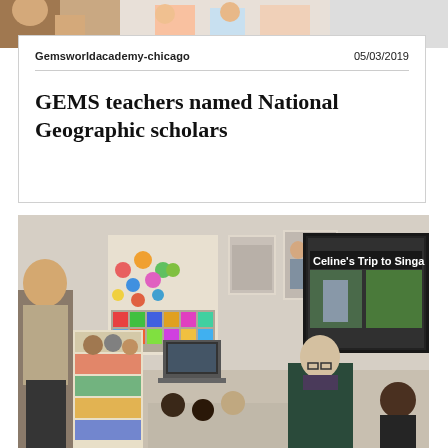[Figure (photo): Top portion of a photo showing children in a classroom setting, partially cropped]
Gemsworldacademy-chicago	05/03/2019
GEMS teachers named National Geographic scholars
[Figure (photo): Classroom photo showing a male teacher standing near a bookshelf, a female teacher with glasses crouching among young students seated on the floor, and a large TV screen on the wall displaying 'Celine's Trip to Singa' with images]